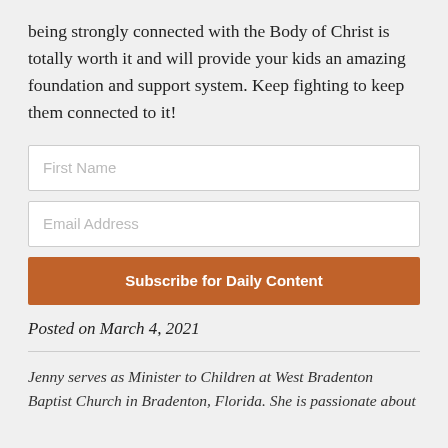being strongly connected with the Body of Christ is totally worth it and will provide your kids an amazing foundation and support system. Keep fighting to keep them connected to it!
First Name
Email Address
Subscribe for Daily Content
Posted on March 4, 2021
Jenny serves as Minister to Children at West Bradenton Baptist Church in Bradenton, Florida. She is passionate about